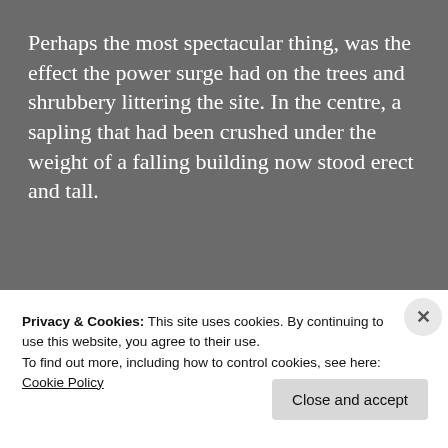Perhaps the most spectacular thing, was the effect the power surge had on the trees and shrubbery littering the site. In the centre, a sapling that had been crushed under the weight of a falling building now stood erect and tall.
[Figure (screenshot): Green advertisement banner with bold white text reading 'button for your WordPress site', with strikethrough text partially visible above]
Privacy & Cookies: This site uses cookies. By continuing to use this website, you agree to their use.
To find out more, including how to control cookies, see here:
Cookie Policy
Close and accept